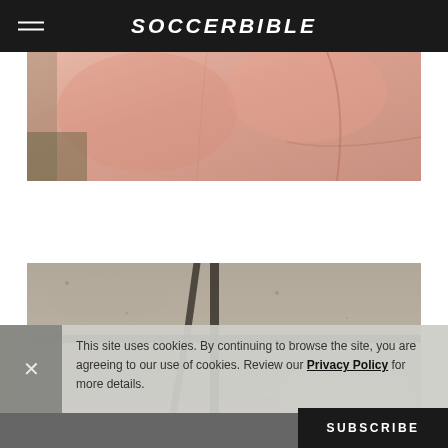SOCCERBIBLE
[Figure (photo): Close-up photo of someone wearing a pink/blush hoodie sweatshirt]
[Figure (photo): Close-up photo of concrete pavement slabs with dark grouting between them]
This site uses cookies. By continuing to browse the site, you are agreeing to our use of cookies. Review our Privacy Policy for more details.
SUBSCRIBE